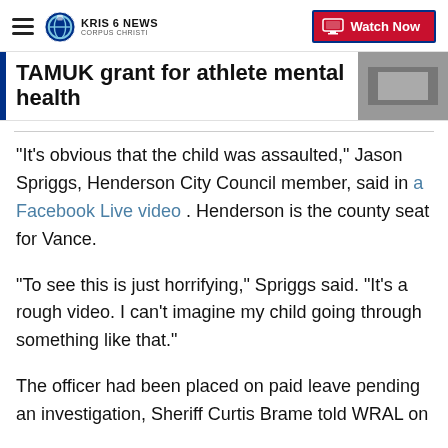KRIS 6 NEWS CORPUS CHRISTI — Watch Now
TAMUK grant for athlete mental health
"It's obvious that the child was assaulted," Jason Spriggs, Henderson City Council member, said in a Facebook Live video . Henderson is the county seat for Vance.
"To see this is just horrifying," Spriggs said. "It's a rough video. I can't imagine my child going through something like that."
The officer had been placed on paid leave pending an investigation, Sheriff Curtis Brame told WRAL on